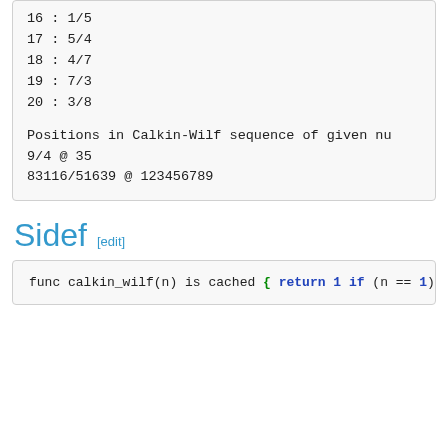16 : 1/5
17 : 5/4
18 : 4/7
19 : 7/3
20 : 3/8

Positions in Calkin-Wilf sequence of given nu
9/4 @ 35
83116/51639 @ 123456789
Sidef [edit]
func calkin_wilf(n) is cached {
    return 1 if (n == 1)
    1/(2*floor(__FUNC__(n-1)) + 1 - __FUNC__(
}

func r2cw(r) {

    var cfrac = r.as_cfrac
    cfrac.len.is_odd || return nil

    Num(cfrac.flip_map_by {|k, v| (k.is_odd ?